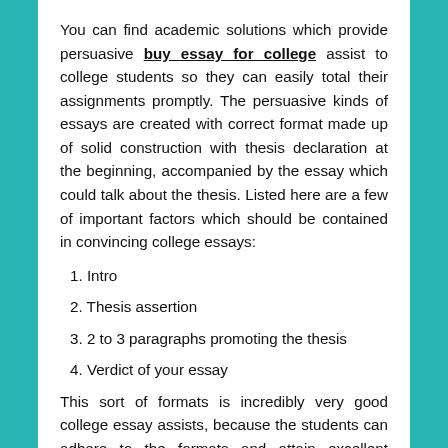You can find academic solutions which provide persuasive buy essay for college assist to college students so they can easily total their assignments promptly. The persuasive kinds of essays are created with correct format made up of solid construction with thesis declaration at the beginning, accompanied by the essay which could talk about the thesis. Listed here are a few of important factors which should be contained in convincing college essays:
1. Intro
2. Thesis assertion
3. 2 to 3 paragraphs promoting the thesis
4. Verdict of your essay
This sort of formats is incredibly very good college essay assists, because the students can adhere to the formats and attain excellent grades. But about three